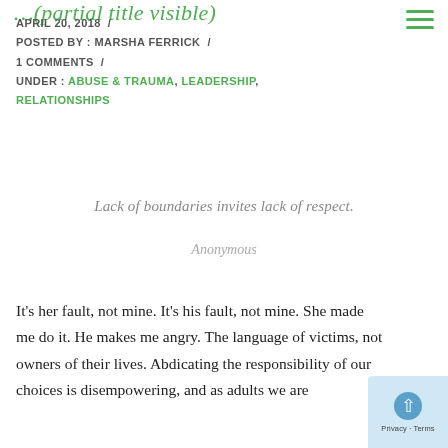APRIL 20, 2018 / POSTED BY : MARSHA FERRICK / 1 COMMENTS / UNDER : ABUSE & TRAUMA, LEADERSHIP, RELATIONSHIPS
Lack of boundaries invites lack of respect.
Anonymous
It's her fault, not mine. It's his fault, not mine. She made me do it. He makes me angry. The language of victims, not owners of their lives. Abdicating the responsibility of our choices is disempowering, and as adults we are